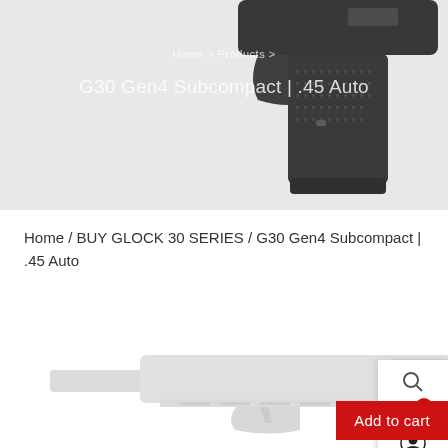[Figure (photo): Hero banner showing a black Glock pistol grip/handle close-up on a light gray background, with breadcrumb text overlaid]
Home > Products >
G30 Gen4 Subcompact | .45 Auto
Home / BUY GLOCK 30 SERIES / G30 Gen4 Subcompact | .45 Auto
[Figure (photo): Light gray/silver Glock G30 Gen4 pistol shown in side profile view]
Add to cart